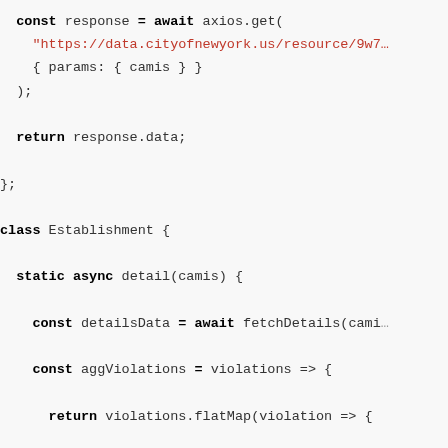const response = await axios.get(
    "https://data.cityofnewyork.us/resource/9w7m
    { params: { camis } }
  );

  return response.data;

};

class Establishment {

  static async detail(camis) {

    const detailsData = await fetchDetails(camis

    const aggViolations = violations => {

      return violations.flatMap(violation => {

        if (violation.violation_code && violatio

          return [{

              code: violation.violation_code,

              description: violation.violation_de